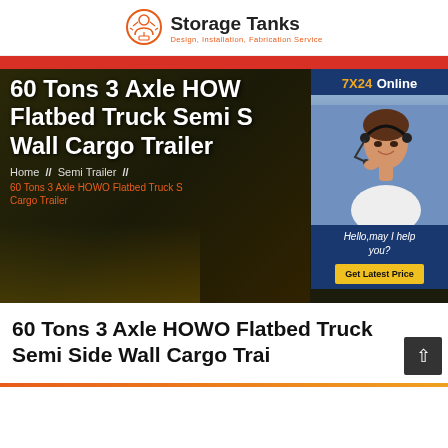Storage Tanks — Design, Installation, Fabrication Service
[Figure (screenshot): Website screenshot showing hero banner for '60 Tons 3 Axle HOWO Flatbed Truck Semi Side Wall Cargo Trailer' with dark background, breadcrumb navigation, and a customer service chat widget showing '7X24 Online' with a woman wearing a headset, and a 'Get Latest Price' button]
60 Tons 3 Axle HOWO Flatbed Truck Semi Side Wall Cargo Trailer